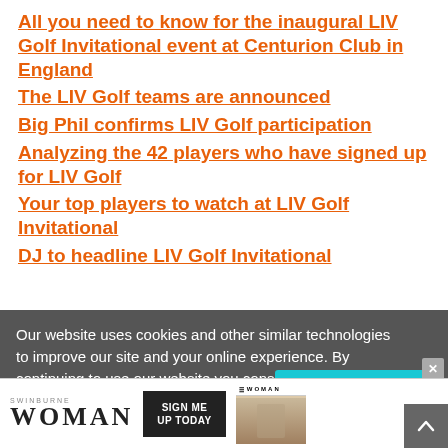All you need to know for the inaugural LIV Golf Invitational event at Centurion Club in England
The LIV Golf teams are announced
Big Phil confirms LIV Golf participation
Analyzing the 42 players who have signed up for LIV Golf
Your top players to watch at LIV Golf Invitational
DJ to headline LIV Golf Invitational
TAGS  DP WORLD TOUR  LADIES EUROPEAN TOUR  LET  LINN GRANT
Our website uses cookies and other similar technologies to improve our site and your online experience. By continuing to use our website you consent to cookies being u...
[Figure (screenshot): Advertisement banner for Swinburne Woman magazine with 'SIGN ME UP TODAY' button and phone mockup]